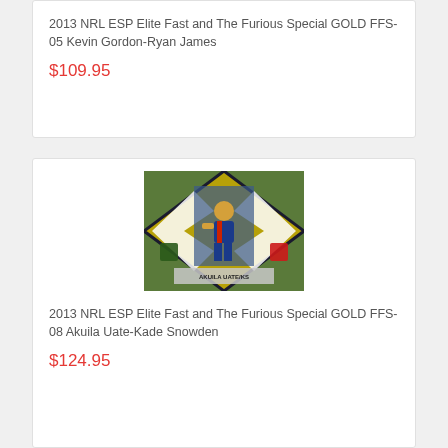2013 NRL ESP Elite Fast and The Furious Special GOLD FFS-05 Kevin Gordon-Ryan James
$109.95
[Figure (photo): Trading card: 2013 NRL ESP Elite Fast and The Furious Special GOLD FFS-08 Akuila Uate-Kade Snowden. Shows a rugby league player in blue/red jersey in a running/crouching pose, on a gold and black diamond-patterned foil card with NRL and sponsor logos.]
2013 NRL ESP Elite Fast and The Furious Special GOLD FFS-08 Akuila Uate-Kade Snowden
$124.95